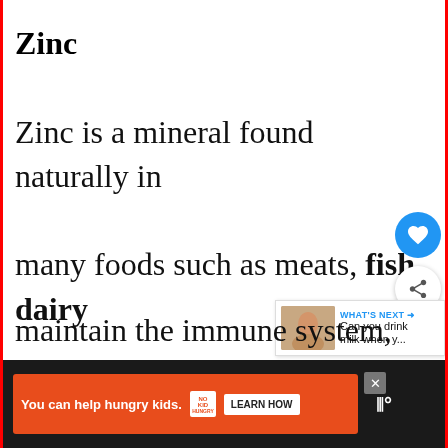Zinc
Zinc is a mineral found naturally in many foods such as meats, fish, dairy products, beans, nuts, seeds, whole grains, and vegetables. Zinc helps maintain the immune system, normal
[Figure (screenshot): UI overlay elements: heart/favorite button (blue circle), share button (white circle), and a 'What's Next' recommendation box showing 'Can you drink milk when y...' with a thumbnail]
[Figure (screenshot): Advertisement banner: orange background with 'You can help hungry kids.' text, No Kid Hungry logo, and LEARN HOW button on dark background]